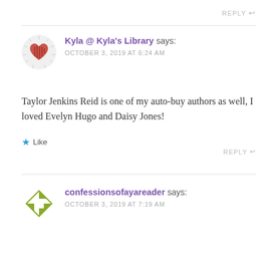REPLY ↩
Kyla @ Kyla's Library says:
OCTOBER 3, 2019 AT 6:24 AM
Taylor Jenkins Reid is one of my auto-buy authors as well, I loved Evelyn Hugo and Daisy Jones!
★ Like
REPLY ↩
confessionsofayareader says:
OCTOBER 3, 2019 AT 7:19 AM